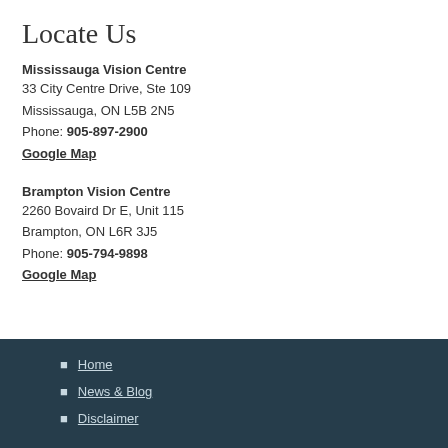Locate Us
Mississauga Vision Centre
33 City Centre Drive, Ste 109
Mississauga, ON L5B 2N5
Phone: 905-897-2900
Google Map
Brampton Vision Centre
2260 Bovaird Dr E, Unit 115
Brampton, ON L6R 3J5
Phone: 905-794-9898
Google Map
Home
News & Blog
Disclaimer